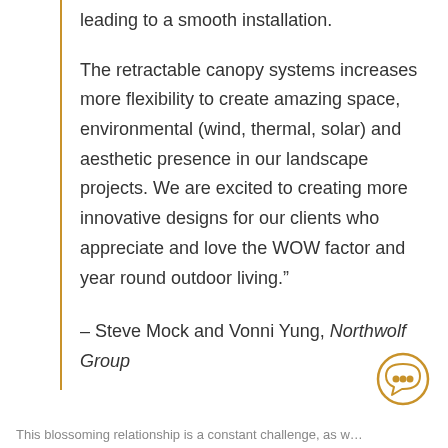leading to a smooth installation.
The retractable canopy systems increases more flexibility to create amazing space, environmental (wind, thermal, solar) and aesthetic presence in our landscape projects. We are excited to creating more innovative designs for our clients who appreciate and love the WOW factor and year round outdoor living.”
– Steve Mock and Vonni Yung, Northwolf Group
[Figure (illustration): Chat/speech bubble icon with ellipsis dots inside, circular orange border]
This blossoming relationship is a constant challenge, as w…